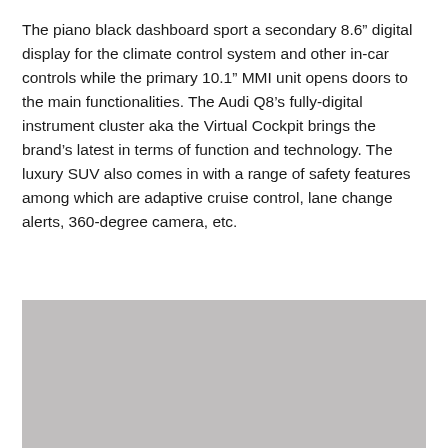The piano black dashboard sport a secondary 8.6" digital display for the climate control system and other in-car controls while the primary 10.1" MMI unit opens doors to the main functionalities. The Audi Q8's fully-digital instrument cluster aka the Virtual Cockpit brings the brand's latest in terms of function and technology. The luxury SUV also comes in with a range of safety features among which are adaptive cruise control, lane change alerts, 360-degree camera, etc.
[Figure (photo): A grey/silver rectangular image placeholder, likely a photo of the Audi Q8 interior or exterior.]